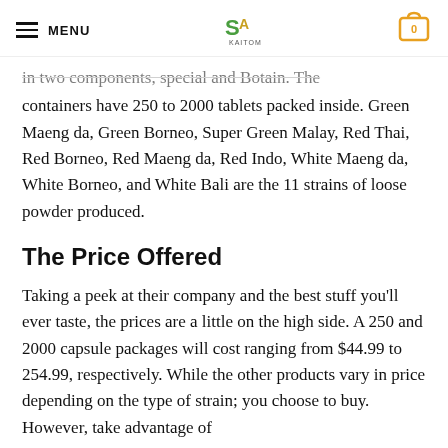MENU | [logo] | [cart: 0]
in two components, special and Botain. The containers have 250 to 2000 tablets packed inside. Green Maeng da, Green Borneo, Super Green Malay, Red Thai, Red Borneo, Red Maeng da, Red Indo, White Maeng da, White Borneo, and White Bali are the 11 strains of loose powder produced.
The Price Offered
Taking a peek at their company and the best stuff you'll ever taste, the prices are a little on the high side. A 250 and 2000 capsule packages will cost ranging from $44.99 to 254.99, respectively. While the other products vary in price depending on the type of strain; you choose to buy. However, take advantage of